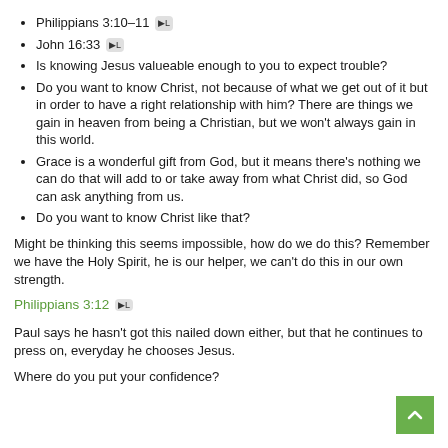Philippians 3:10–11 [L]
John 16:33 [L]
Is knowing Jesus valueable enough to you to expect trouble?
Do you want to know Christ, not because of what we get out of it but in order to have a right relationship with him? There are things we gain in heaven from being a Christian, but we won't always gain in this world.
Grace is a wonderful gift from God, but it means there's nothing we can do that will add to or take away from what Christ did, so God can ask anything from us.
Do you want to know Christ like that?
Might be thinking this seems impossible, how do we do this? Remember we have the Holy Spirit, he is our helper, we can't do this in our own strength.
Philippians 3:12 [L]
Paul says he hasn't got this nailed down either, but that he continues to press on, everyday he chooses Jesus.
Where do you put your confidence?